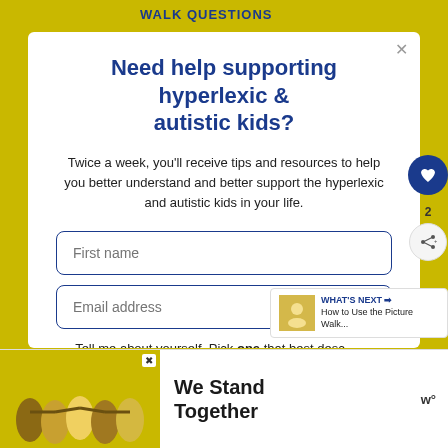Need help supporting hyperlexic & autistic kids?
Twice a week, you'll receive tips and resources to help you better understand and better support the hyperlexic and autistic kids in your life.
First name
Email address
Tell me about yourself. Pick one that best describes why you're here.
I'm a parent or grandparent
WHAT'S NEXT → How to Use the Picture Walk...
We Stand Together